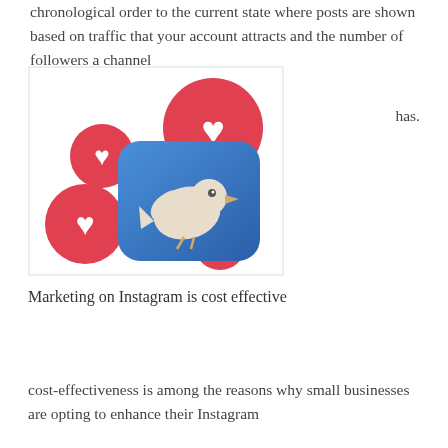chronological order to the current state where posts are shown based on traffic that your account attracts and the number of followers a channel has.
[Figure (illustration): Twitter bird logo on a blue rounded-square icon surrounded by four red heart/like icons of varying sizes]
Marketing on Instagram is cost effective
cost-effectiveness is among the reasons why small businesses are opting to enhance their Instagram